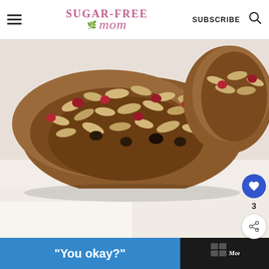Sugar-Free Mom — SUBSCRIBE
[Figure (photo): Close-up photo of oat and fruit breakfast bars with rolled oats, cranberries, and dried fruit on parchment paper]
Oat & Fruit Breakfast Bars: Dairy, Egg, Sugar, Flour, Nut & Gluten-Free
[Figure (infographic): Advertisement bar at the bottom with blue background and text 'You okay?' on dark background]